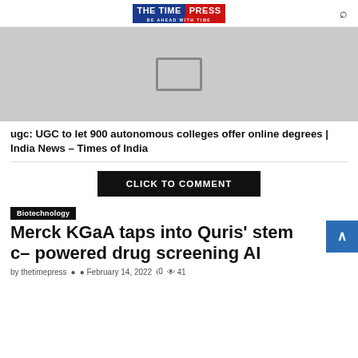THE TIME PRESS — BE AHEAD WITH TIME
[Figure (photo): Placeholder image with broken image icon on grey background]
ugc: UGC to let 900 autonomous colleges offer online degrees | India News – Times of India
CLICK TO COMMENT
Biotechnology
Merck KGaA taps into Quris' stem c– powered drug screening AI
by thetimepress   February 14, 2022   0   41